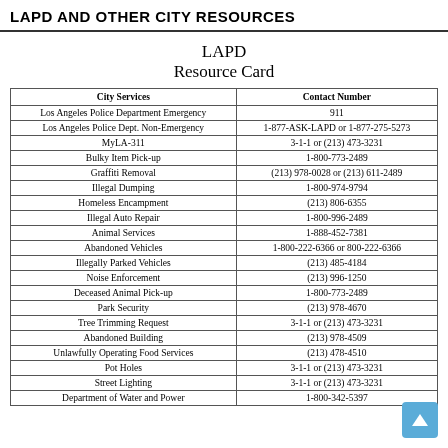LAPD AND OTHER CITY RESOURCES
LAPD Resource Card
| City Services | Contact Number |
| --- | --- |
| Los Angeles Police Department Emergency | 911 |
| Los Angeles Police Dept. Non-Emergency | 1-877-ASK-LAPD or 1-877-275-5273 |
| MyLA-311 | 3-1-1 or (213) 473-3231 |
| Bulky Item Pick-up | 1-800-773-2489 |
| Graffiti Removal | (213) 978-0028 or (213) 611-2489 |
| Illegal Dumping | 1-800-974-9794 |
| Homeless Encampment | (213) 806-6355 |
| Illegal Auto Repair | 1-800-996-2489 |
| Animal Services | 1-888-452-7381 |
| Abandoned Vehicles | 1-800-222-6366 or 800-222-6366 |
| Illegally Parked Vehicles | (213) 485-4184 |
| Noise Enforcement | (213) 996-1250 |
| Deceased Animal Pick-up | 1-800-773-2489 |
| Park Security | (213) 978-4670 |
| Tree Trimming Request | 3-1-1 or (213) 473-3231 |
| Abandoned Building | (213) 978-4509 |
| Unlawfully Operating Food Services | (213) 478-4510 |
| Pot Holes | 3-1-1 or (213) 473-3231 |
| Street Lighting | 3-1-1 or (213) 473-3231 |
| Department of Water and Power | 1-800-342-5397 |